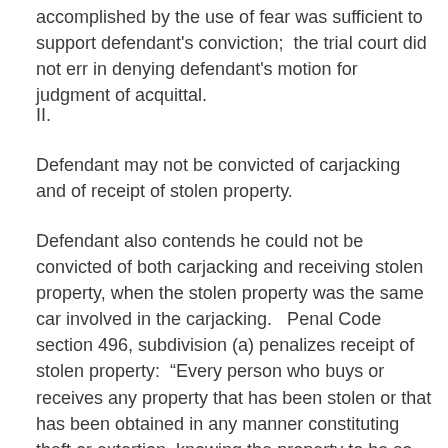accomplished by the use of fear was sufficient to support defendant's conviction;  the trial court did not err in denying defendant's motion for judgment of acquittal.
II.
Defendant may not be convicted of carjacking and of receipt of stolen property.
Defendant also contends he could not be convicted of both carjacking and receiving stolen property, when the stolen property was the same car involved in the carjacking.   Penal Code section 496, subdivision (a) penalizes receipt of stolen property:  “Every person who buys or receives any property that has been stolen or that has been obtained in any manner constituting theft or extortion, knowing the property to be so stolen or obtained, or who conceals, sells, withholds, or aids in concealing, selling, or withholding any property from the owner, knowing the property to be so stolen or